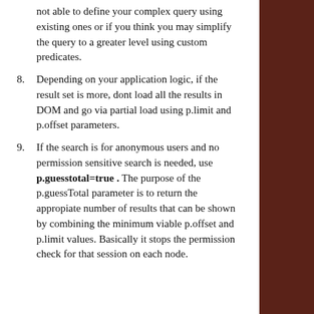not able to define your complex query using existing ones or if you think you may simplify the query to a greater level using custom predicates.
8. Depending on your application logic, if the result set is more, dont load all the results in DOM and go via partial load using p.limit and p.offset parameters.
9. If the search is for anonymous users and no permission sensitive search is needed, use p.guesstotal=true . The purpose of the p.guessTotal parameter is to return the appropiate number of results that can be shown by combining the minimum viable p.offset and p.limit values. Basically it stops the permission check for that session on each node.
Privacy & Cookies: This site uses cookies. By continuing to use this website, you agree to their use. To find out more, including how to control cookies, see here: Cookie Policy